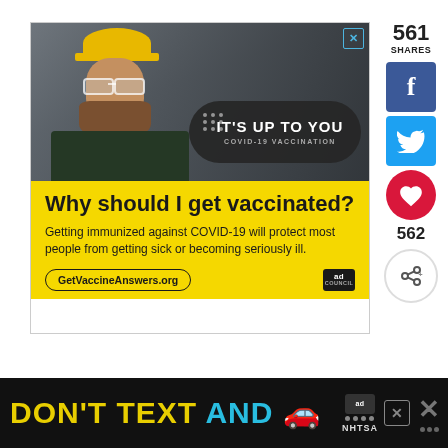[Figure (infographic): COVID-19 vaccination ad showing a bearded male worker wearing a yellow hard hat and safety glasses, with dark overlay pill banner reading IT'S UP TO YOU COVID-19 VACCINATION. Yellow section below reads: Why should I get vaccinated? Getting immunized against COVID-19 will protect most people from getting sick or becoming seriously ill. GetVaccineAnswers.org with Ad Council logo.]
561
SHARES
[Figure (screenshot): Facebook share button (blue)]
[Figure (screenshot): Twitter share button (light blue)]
562
[Figure (infographic): Bottom banner ad: DON'T TEXT AND [car emoji] with NHTSA and Ad Council logos, close button, and secondary X button]
DON'T TEXT AND